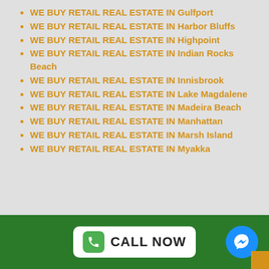WE BUY RETAIL REAL ESTATE IN Gulfport
WE BUY RETAIL REAL ESTATE IN Harbor Bluffs
WE BUY RETAIL REAL ESTATE IN Highpoint
WE BUY RETAIL REAL ESTATE IN Indian Rocks Beach
WE BUY RETAIL REAL ESTATE IN Innisbrook
WE BUY RETAIL REAL ESTATE IN Lake Magdalene
WE BUY RETAIL REAL ESTATE IN Madeira Beach
WE BUY RETAIL REAL ESTATE IN Manhattan
WE BUY RETAIL REAL ESTATE IN Marsh Island
WE BUY RETAIL REAL ESTATE IN Myakka
CALL NOW